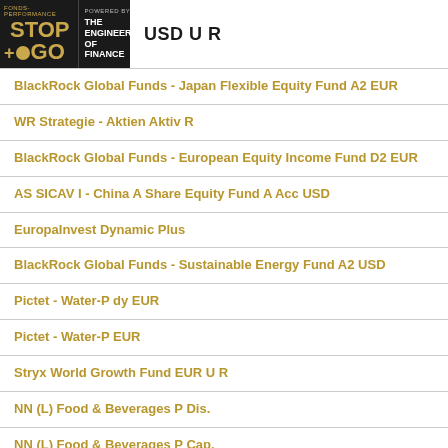STOP+GO | THE ENGINEERS OF FINANCE | USD U R
BlackRock Global Funds - Japan Flexible Equity Fund A2 EUR
WR Strategie - Aktien Aktiv R
BlackRock Global Funds - European Equity Income Fund D2 EUR
AS SICAV I - China A Share Equity Fund A Acc USD
EuropaInvest Dynamic Plus
BlackRock Global Funds - Sustainable Energy Fund A2 USD
Pictet - Water-P dy EUR
Pictet - Water-P EUR
Stryx World Growth Fund EUR U R
NN (L) Food & Beverages P Dis.
NN (L) Food & Beverages P Cap.
Schroder ISF Swiss Small & Mid Cap A Acc